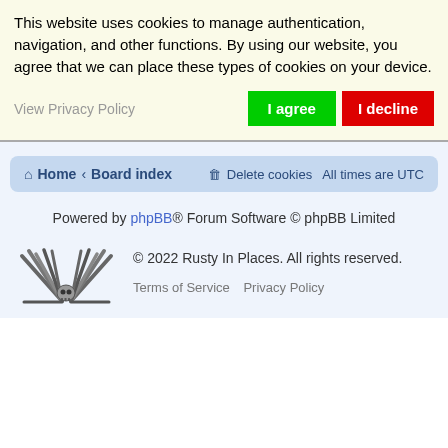This website uses cookies to manage authentication, navigation, and other functions. By using our website, you agree that we can place these types of cookies on your device.
View Privacy Policy
I agree
I decline
Home · Board index    Delete cookies   All times are UTC
Powered by phpBB® Forum Software © phpBB Limited
[Figure (logo): Rusty In Places site logo — crossed pencils/sticks with skull motif in black and gray]
© 2022 Rusty In Places. All rights reserved.
Terms of Service   Privacy Policy